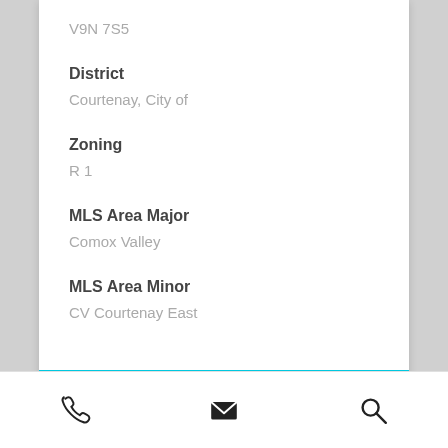V9N 7S5
District
Courtenay, City of
Zoning
R 1
MLS Area Major
Comox Valley
MLS Area Minor
CV Courtenay East
Property Architecture
phone | email | search icons